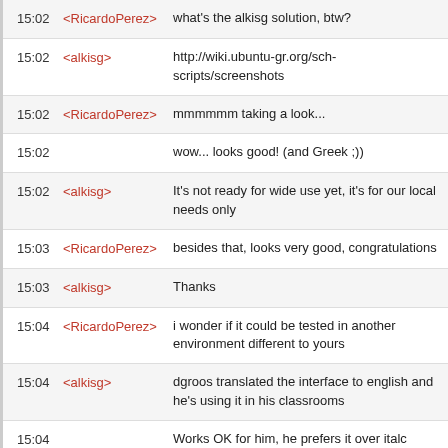| Time | User | Message |
| --- | --- | --- |
| 15:02 | <RicardoPerez> | what's the alkisg solution, btw? |
| 15:02 | <alkisg> | http://wiki.ubuntu-gr.org/sch-scripts/screenshots |
| 15:02 | <RicardoPerez> | mmmmmm taking a look... |
| 15:02 |  | wow... looks good! (and Greek ;)) |
| 15:02 | <alkisg> | It's not ready for wide use yet, it's for our local needs only |
| 15:03 | <RicardoPerez> | besides that, looks very good, congratulations |
| 15:03 | <alkisg> | Thanks |
| 15:04 | <RicardoPerez> | i wonder if it could be tested in another environment different to yours |
| 15:04 | <alkisg> | dgroos translated the interface to english and he's using it in his classrooms |
| 15:04 |  | Works OK for him, he prefers it over italc |
| 15:05 |  | (I think he's the only non-Greek user of the app :D |